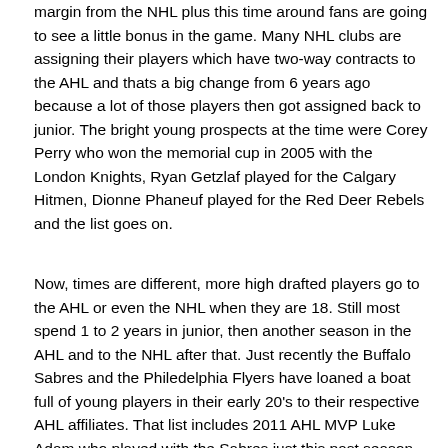margin from the NHL plus this time around fans are going to see a little bonus in the game. Many NHL clubs are assigning their players which have two-way contracts to the AHL and thats a big change from 6 years ago because a lot of those players then got assigned back to junior. The bright young prospects at the time were Corey Perry who won the memorial cup in 2005 with the London Knights, Ryan Getzlaf played for the Calgary Hitmen, Dionne Phaneuf played for the Red Deer Rebels and the list goes on.
Now, times are different, more high drafted players go to the AHL or even the NHL when they are 18. Still most spend 1 to 2 years in junior, then another season in the AHL and to the NHL after that. Just recently the Buffalo Sabres and the Philedelphia Flyers have loaned a boat full of young players in their early 20's to their respective AHL affiliates. That list includes 2011 AHL MVP Luke Adam who played with the Sabres just this past season and Marcus Foligno who is NHL